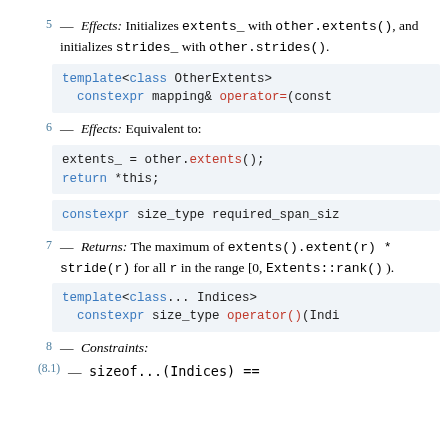5 — Effects: Initializes extents_ with other.extents(), and initializes strides_ with other.strides().
template<class OtherExtents>
  constexpr mapping& operator=(const
6 — Effects: Equivalent to:
extents_ = other.extents();
return *this;
constexpr size_type required_span_siz
7 — Returns: The maximum of extents().extent(r) * stride(r) for all r in the range [0, Extents::rank() ).
template<class... Indices>
  constexpr size_type operator()(Indi
8 — Constraints:
(8.1) — sizeof...(Indices) ==